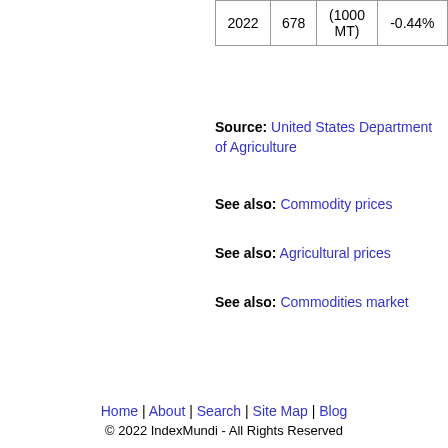|  |  |  |  |
| --- | --- | --- | --- |
| 2022 | 678 | (1000 MT) | -0.44% |
Source: United States Department of Agriculture
See also: Commodity prices
See also: Agricultural prices
See also: Commodities market
Home | About | Search | Site Map | Blog
© 2022 IndexMundi - All Rights Reserved